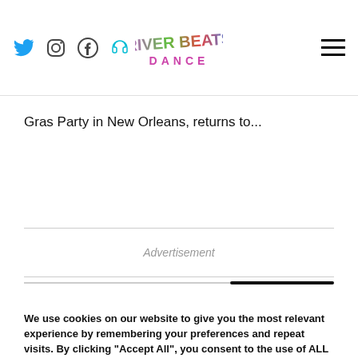River Beats Dance - navigation bar with social icons and logo
Gras Party in New Orleans, returns to...
Advertisement
We use cookies on our website to give you the most relevant experience by remembering your preferences and repeat visits. By clicking "Accept All", you consent to the use of ALL the cookies. However, you may visit "Cookie Settings" to provide a controlled consent.
Cookie Settings | Accept All